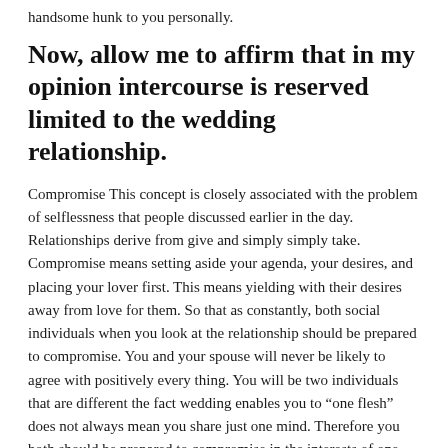handsome hunk to you personally.
Now, allow me to affirm that in my opinion intercourse is reserved limited to the wedding relationship.
Compromise This concept is closely associated with the problem of selflessness that people discussed earlier in the day. Relationships derive from give and simply simply take. Compromise means setting aside your agenda, your desires, and placing your lover first. This means yielding with their desires away from love for them. So that as constantly, both social individuals when you look at the relationship should be prepared to compromise. You and your spouse will never be likely to agree with positively every thing. You will be two individuals that are different the fact wedding enables you to “one flesh” does not always mean you share just one mind. Therefore you both should be prepared to compromise in the interests of one other, and also for the benefit of this relationship.
This undoubtedly is not an exhaustive listing of maxims that Emmalee and I also have actually built our relationship on, nonetheless it’s some of the most extremely necessary for us. As well as others could have principles that are different highlighted. It is not to be used to be a complete tabulation, but to shed thoughts